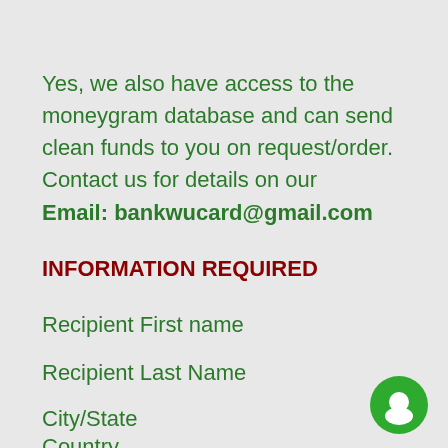Yes, we also have access to the moneygram database and can send clean funds to you on request/order. Contact us for details on our
Email: bankwucard@gmail.com
INFORMATION REQUIRED
Recipient First name
Recipient Last Name
City/State
Country